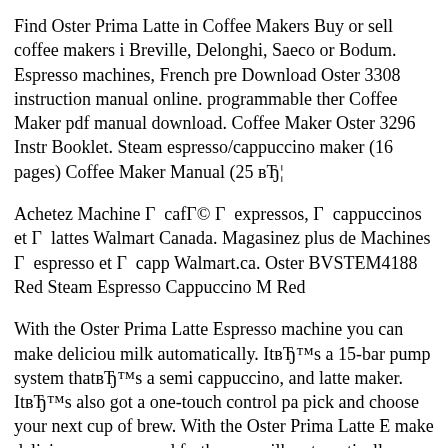Find Oster Prima Latte in Coffee Makers Buy or sell coffee makers i Breville, Delonghi, Saeco or Bodum. Espresso machines, French pre Download Oster 3308 instruction manual online. programmable ther Coffee Maker pdf manual download. Coffee Maker Oster 3296 Instr Booklet. Steam espresso/cappuccino maker (16 pages) Coffee Maker Manual (25 вЂ¦
Achetez Machine Г  cafГ© Г  expressos, Г  cappuccinos et Г  lattes Walmart Canada. Magasinez plus de Machines Г  espresso et Г  capp Walmart.ca. Oster BVSTEM4188 Red Steam Espresso Cappuccino M Red
With the Oster Prima Latte Espresso machine you can make deliciou milk automatically. ItвЂ™s a 15-bar pump system thatвЂ™s a semi cappuccino, and latte maker. ItвЂ™s also got a one-touch control pa pick and choose your next cup of brew. With the Oster Prima Latte E make delicious espresso and froth your milk automatically. ItвЂ™s a thatвЂ™s a semi-automatic 3-in-1 espresso, cappuccino, and latte m touch control panel so itвЂ™s really easy to pick and choose your n